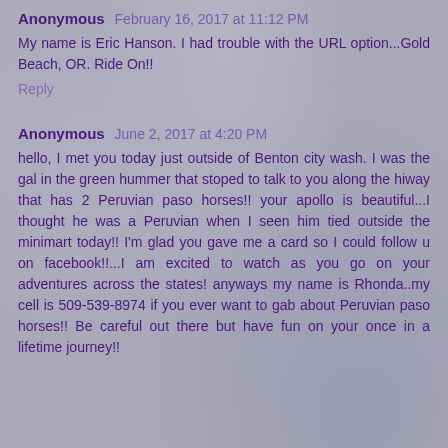Anonymous February 16, 2017 at 11:12 PM
My name is Eric Hanson. I had trouble with the URL option...Gold Beach, OR. Ride On!!
Reply
Anonymous June 2, 2017 at 4:20 PM
hello, I met you today just outside of Benton city wash. I was the gal in the green hummer that stoped to talk to you along the hiway that has 2 Peruvian paso horses!! your apollo is beautiful...I thought he was a Peruvian when I seen him tied outside the minimart today!! I'm glad you gave me a card so I could follow u on facebook!!...I am excited to watch as you go on your adventures across the states! anyways my name is Rhonda..my cell is 509-539-8974 if you ever want to gab about Peruvian paso horses!! Be careful out there but have fun on your once in a lifetime journey!!